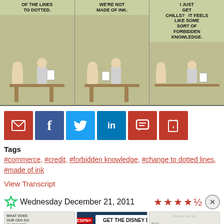[Figure (illustration): Dilbert comic strip showing three panels. Panel 1: text 'OF THE LINES TO DOTTED.' Panel 2: text 'WE'RE NOT MADE OF INK.' Panel 3: text 'I JUST GET CHILLS?' and 'IT FEELS LIKE SOME SORT OF FORBIDDEN KNOWLEDGE.' Characters include Dilbert and his boss.]
[Figure (infographic): Social sharing buttons row: email (red), Facebook (dark blue), Twitter (light blue), LinkedIn (blue), comment (red), shopping cart (red)]
Tags
#commerce, #credit, #forbidden knowledge, #change to dotted lines, #made of ink
View Transcript
Wednesday December 21, 2011
[Figure (infographic): Star rating showing approximately 4 out of 5 stars]
[Figure (screenshot): Advertisement for Disney Bundle featuring Hulu, Disney+, and ESPN+. Text reads: GET THE DISNEY BUNDLE. Incl. Hulu (ad-supported) or Hulu (No Ads). Access content from each service separately. ©2021 Disney and its related entities]
[Figure (illustration): Next day comic strip previews showing three small thumbnail panels of Dilbert comics]